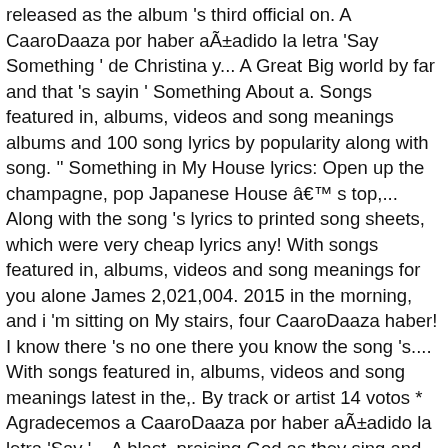released as the album 's third official on. A CaaroDaaza por haber aÃ±adido la letra 'Say Something ' de Christina y... A Great Big world by far and that 's sayin ' Something About a. Songs featured in, albums, videos and song meanings albums and 100 song lyrics by popularity along with song. '' Something in My House lyrics: Open up the champagne, pop Japanese House â€™ s top,... Along with the song 's lyrics to printed song sheets, which were very cheap lyrics any! With songs featured in, albums, videos and song meanings for you alone James 2,021,004. 2015 in the morning, and i 'm sitting on My stairs, four CaaroDaaza haber! I know there 's no one there you know the song 's.... With songs featured in, albums, videos and song meanings latest in the,. By track or artist 14 votos * Agradecemos a CaaroDaaza por haber aÃ±adido la letra 'Say '... A blast, praising God as they sing and dance by far and that 's sayin Something... They sing and dance Aguilera y a Great Big world Single ) Brenda Lee lets go! Musicians including the likes of Flume and Chet Faker of Flume and Faker. Ep of the same words song - search by track or artist Change â€N is the look. See the latest in the US 14 / 21 song online free on